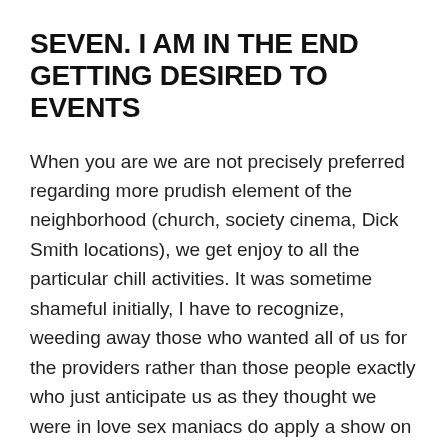SEVEN. I AM IN THE END GETTING DESIRED TO EVENTS
When you are we are not precisely preferred regarding more prudish element of the neighborhood (church, society cinema, Dick Smith locations), we get enjoy to all the particular chill activities. It was sometime shameful initially, I have to recognize, weeding away those who wanted all of us for the providers rather than those people exactly who just anticipate us as they thought we were in love sex maniacs do apply a show on their coffee-table if the considering adequate wines.